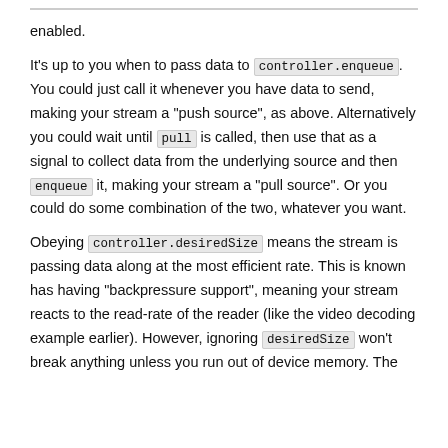enabled.
It's up to you when to pass data to controller.enqueue. You could just call it whenever you have data to send, making your stream a "push source", as above. Alternatively you could wait until pull is called, then use that as a signal to collect data from the underlying source and then enqueue it, making your stream a "pull source". Or you could do some combination of the two, whatever you want.
Obeying controller.desiredSize means the stream is passing data along at the most efficient rate. This is known has having "backpressure support", meaning your stream reacts to the read-rate of the reader (like the video decoding example earlier). However, ignoring desiredSize won't break anything unless you run out of device memory. The